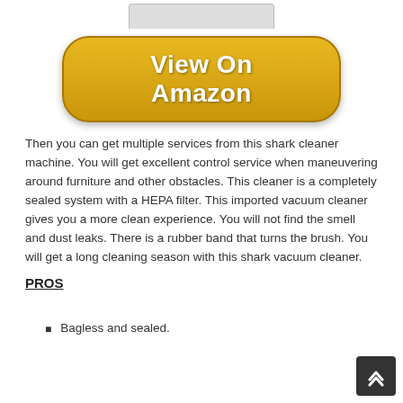[Figure (photo): Partial view of a shark vacuum cleaner product image at top of page]
[Figure (other): Golden 'View On Amazon' button with rounded corners and white bold text]
Then you can get multiple services from this shark cleaner machine. You will get excellent control service when maneuvering around furniture and other obstacles. This cleaner is a completely sealed system with a HEPA filter. This imported vacuum cleaner gives you a more clean experience. You will not find the smell and dust leaks. There is a rubber band that turns the brush. You will get a long cleaning season with this shark vacuum cleaner.
PROS
Bagless and sealed.